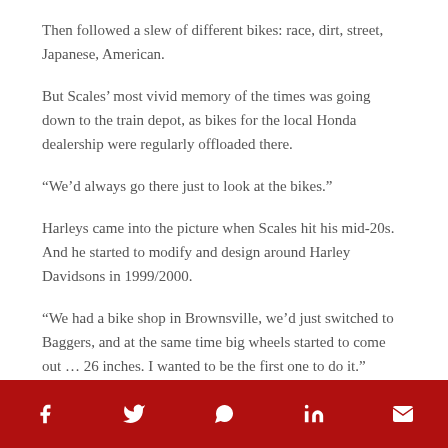Then followed a slew of different bikes: race, dirt, street, Japanese, American.
But Scales' most vivid memory of the times was going down to the train depot, as bikes for the local Honda dealership were regularly offloaded there.
“We’d always go there just to look at the bikes.”
Harleys came into the picture when Scales hit his mid-20s. And he started to modify and design around Harley Davidsons in 1999/2000.
“We had a bike shop in Brownsville, we’d just switched to Baggers, and at the same time big wheels started to come out … 26 inches. I wanted to be the first one to do it.”
Social share bar: Facebook, Twitter, WhatsApp, LinkedIn, Email